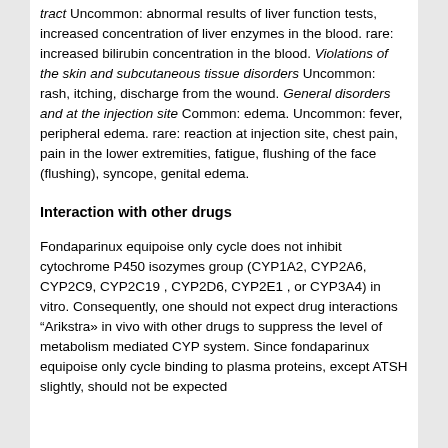tract Uncommon: abnormal results of liver function tests, increased concentration of liver enzymes in the blood. rare: increased bilirubin concentration in the blood. Violations of the skin and subcutaneous tissue disorders Uncommon: rash, itching, discharge from the wound. General disorders and at the injection site Common: edema. Uncommon: fever, peripheral edema. rare: reaction at injection site, chest pain, pain in the lower extremities, fatigue, flushing of the face (flushing), syncope, genital edema.
Interaction with other drugs
Fondaparinux equipoise only cycle does not inhibit cytochrome P450 isozymes group (CYP1A2, CYP2A6, CYP2C9, CYP2C19 , CYP2D6, CYP2E1 , or CYP3A4) in vitro. Consequently, one should not expect drug interactions “Arikstra» in vivo with other drugs to suppress the level of metabolism mediated CYP system. Since fondaparinux equipoise only cycle binding to plasma proteins, except ATSH slightly, should not be expected